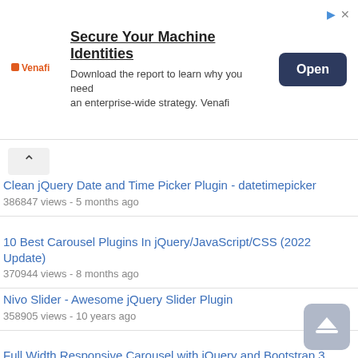[Figure (screenshot): Advertisement banner for Venafi: 'Secure Your Machine Identities - Download the report to learn why you need an enterprise-wide strategy. Venafi' with an Open button]
Clean jQuery Date and Time Picker Plugin - datetimepicker
386847 views - 5 months ago
10 Best Carousel Plugins In jQuery/JavaScript/CSS (2022 Update)
370944 views - 8 months ago
Nivo Slider - Awesome jQuery Slider Plugin
358905 views - 10 years ago
Full Width Responsive Carousel with jQuery and Bootstrap 3
348943 views - 8 years ago
10 Best Multiple Select Plugins In JavaScript (2022 Update)
338465 views - 7 months ago